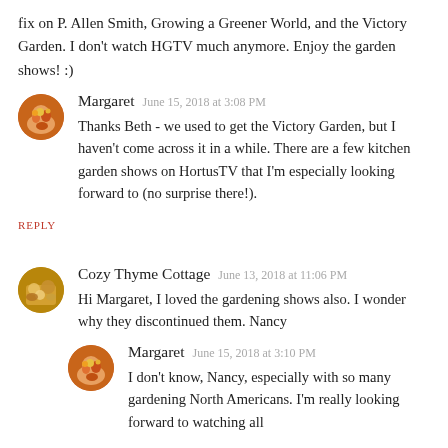fix on P. Allen Smith, Growing a Greener World, and the Victory Garden. I don't watch HGTV much anymore. Enjoy the garden shows! :)
Margaret  June 15, 2018 at 3:08 PM
Thanks Beth - we used to get the Victory Garden, but I haven't come across it in a while. There are a few kitchen garden shows on HortusTV that I'm especially looking forward to (no surprise there!).
REPLY
Cozy Thyme Cottage  June 13, 2018 at 11:06 PM
Hi Margaret, I loved the gardening shows also. I wonder why they discontinued them. Nancy
Margaret  June 15, 2018 at 3:10 PM
I don't know, Nancy, especially with so many gardening North Americans. I'm really looking forward to watching all